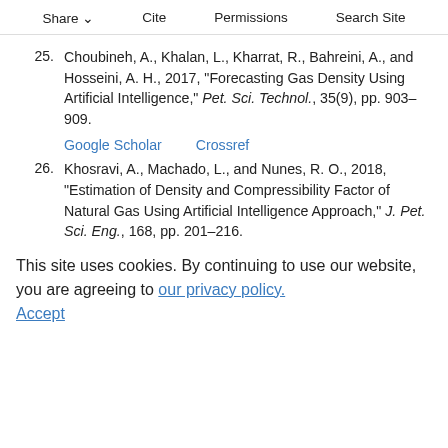Share  Cite  Permissions  Search Site
25. Choubineh, A., Khalan, L., Kharrat, R., Bahreini, A., and Hosseini, A. H., 2017, "Forecasting Gas Density Using Artificial Intelligence," Pet. Sci. Technol., 35(9), pp. 903–909.
Google Scholar   Crossref
26. Khosravi, A., Machado, L., and Nunes, R. O., 2018, "Estimation of Density and Compressibility Factor of Natural Gas Using Artificial Intelligence Approach," J. Pet. Sci. Eng., 168, pp. 201–216.
Google Scholar   Crossref
27. Ghorbani, H., Wood, D. A., Choubineh, A., Mohamadian, N., Tatar, A., Farhangian, H., and Nikooey, A., 2020, "Performance
This site uses cookies. By continuing to use our website, you are agreeing to our privacy policy.
Accept